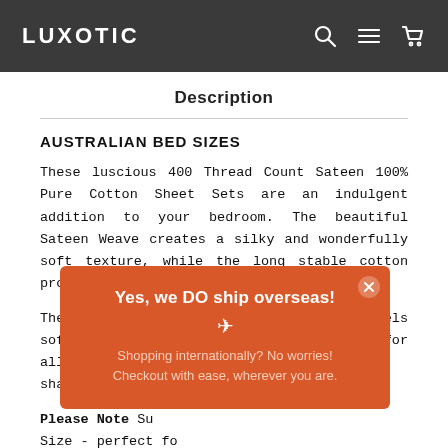LUXOTIC
Description
AUSTRALIAN BED SIZES
These luscious 400 Thread Count Sateen 100% Pure Cotton Sheet Sets are an indulgent addition to your bedroom. The beautiful Sateen Weave creates a silky and wonderfully soft texture, while the long stable cotton provides premium strength and longevity.
The 400 Thread Count of these sheets feels soft yet lightweight, providing comfort for all seasons. Available in a range of stunning colours, find the perfect shade for your bedroom.
Please Note Su... Size - perfect fo... to use a topper.
[Figure (other): Popup banner with orange background reading 'Yes, we DO ship overseas!' with airplane icon and subtext 'Shopping internationally? No worries! Checkout with ease, wherever you are.']